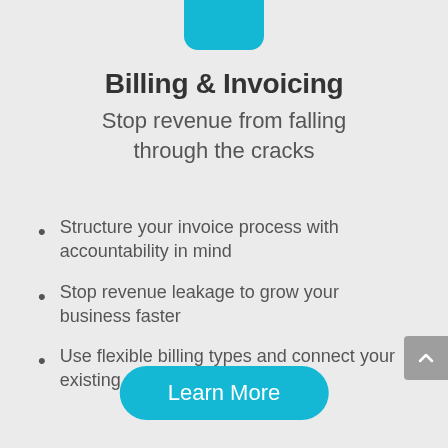[Figure (illustration): Cyan/teal rounded square icon partially visible at top center of page]
Billing & Invoicing
Stop revenue from falling through the cracks
Structure your invoice process with accountability in mind
Stop revenue leakage to grow your business faster
Use flexible billing types and connect your existing accounting system
Learn More